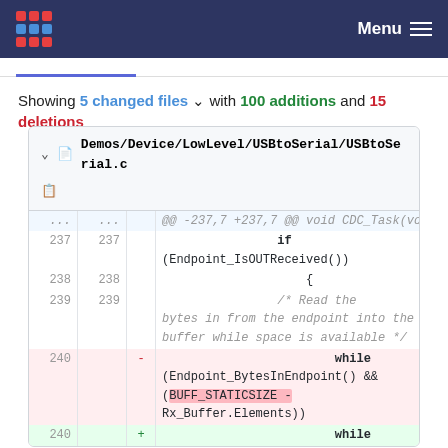Menu
Showing 5 changed files with 100 additions and 15 deletions
Demos/Device/LowLevel/USBtoSerial/USBtoSerial.c
| old | new | marker | code |
| --- | --- | --- | --- |
| ... | ... |  | @@ -237,7 +237,7 @@ void CDC_Task(void) |
| 237 | 237 |  |                 if (Endpoint_IsOUTReceived()) |
| 238 | 238 |  |                 { |
| 239 | 239 |  |                 /* Read the bytes in from the endpoint into the buffer while space is available */ |
| 240 |  | - |                 while (Endpoint_BytesInEndpoint() && (BUFF_STATICSIZE - Rx_Buffer.Elements)) |
|  | 240 | + |                 while |